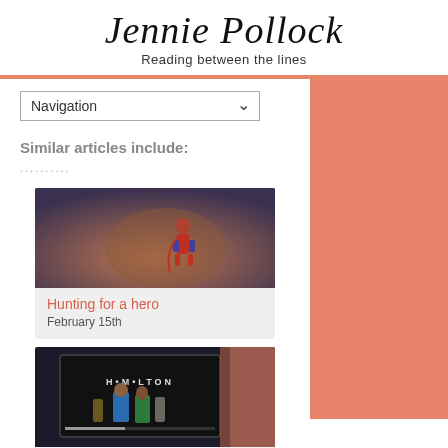Jennie Pollock
Reading between the lines
Navigation
Similar articles include:
..........
[Figure (photo): Blurred photo showing a small superhero toy figure (Superman/Batman) on a dark surface]
Hunting for a hero
February 15th
[Figure (screenshot): Screenshot of a Hamilton musical video showing two performers in colorful suits on a dark stage, with the word HAMILTON on screen]
Reflections on the